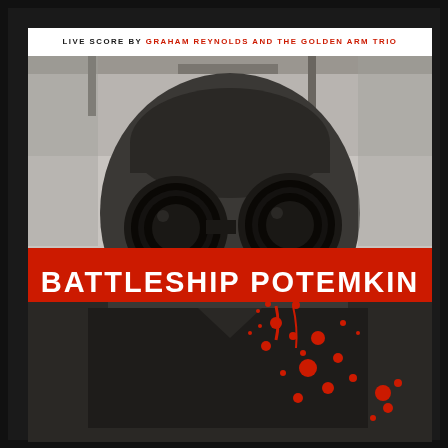[Figure (illustration): Movie poster for 'Battleship Potemkin' — a high-contrast black and white halftone image of a soldier/sailor wearing a gas mask or binoculars device, with two large circular lens openings. Red blood splatter overlays the lower portion of the image. A bold red horizontal band across the middle contains the white stencil-style title text 'BATTLESHIP POTEMKIN'. At the top, white bar text reads 'LIVE SCORE BY GRAHAM REYNOLDS AND THE GOLDEN ARM TRIO' in small caps with red highlighting on the performer name. The overall style is constructivist/propaganda poster aesthetic.]